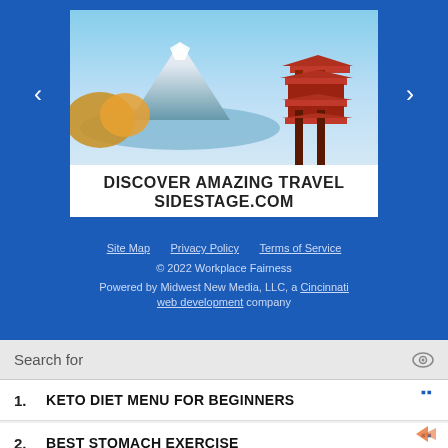[Figure (screenshot): Travel advertisement banner showing Japan with Mount Fuji, a pagoda, and text 'DISCOVER AMAZING TRAVEL SIDESTAGE.COM' on white background, with navigation arrows on blue background]
Site Map   Privacy Policy   Terms of Service
© 2022 Workplace Fairness
Powered by Midwest New Media, LLC, a Cincinnati web development company
Search for
1. KETO DIET MENU FOR BEGINNERS
2. BEST STOMACH EXERCISE